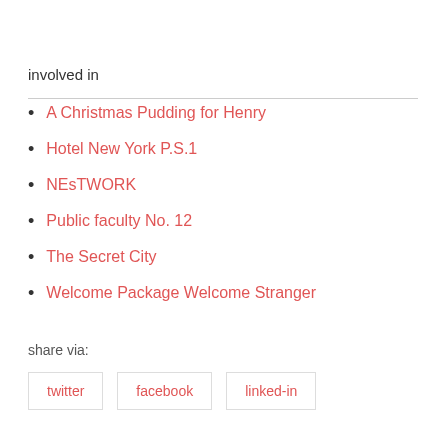involved in
A Christmas Pudding for Henry
Hotel New York P.S.1
NEsTWORK
Public faculty No. 12
The Secret City
Welcome Package Welcome Stranger
share via:
twitter   facebook   linked-in